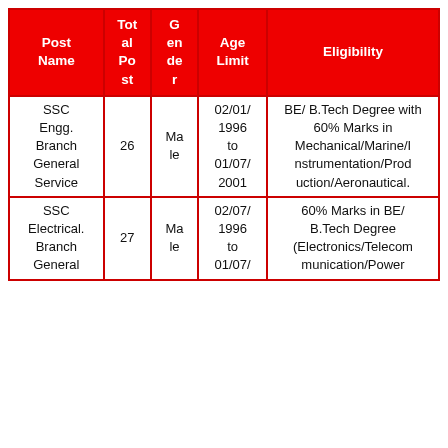| Post Name | Total Post | Gender | Age Limit | Eligibility |
| --- | --- | --- | --- | --- |
| SSC Engg. Branch General Service | 26 | Male | 02/01/1996 to 01/07/2001 | BE/ B.Tech Degree with 60% Marks in Mechanical/Marine/Instrumentation/Production/Aeronautical. |
| SSC Electrical. Branch General | 27 | Male | 02/07/1996 to 01/07/ | 60% Marks in BE/ B.Tech Degree (Electronics/Telecommunication/Power |